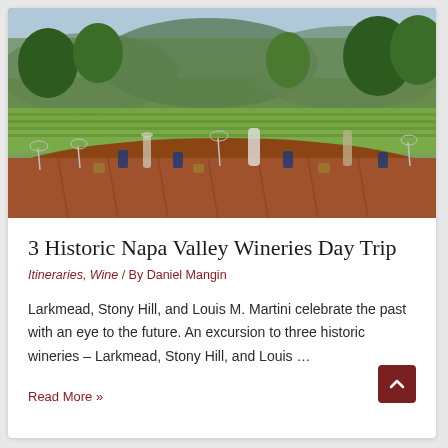[Figure (photo): Outdoor dining table set with wine glasses, carafes, and blue glassware on a wooden table surrounded by Napa Valley vineyard and tree-covered hillside scenery]
3 Historic Napa Valley Wineries Day Trip
Itineraries, Wine / By Daniel Mangin
Larkmead, Stony Hill, and Louis M. Martini celebrate the past with an eye to the future. An excursion to three historic wineries – Larkmead, Stony Hill, and Louis …
Read More »